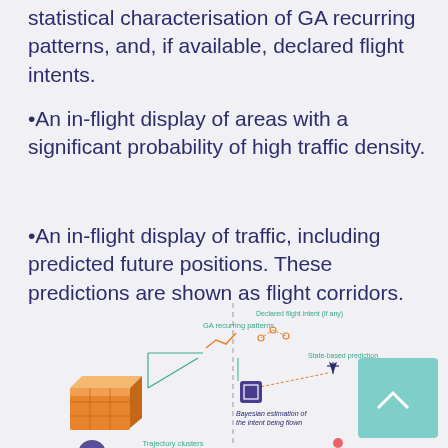statistical characterisation of GA recurring patterns, and, if available, declared flight intents.
•An in-flight display of areas with a significant probability of high traffic density.
•An in-flight display of traffic, including predicted future positions. These predictions are shown as flight corridors.
[Figure (infographic): Diagram showing a statistical database (orange 3D box with gears) connected via lines to components: GA recurring patterns (line chart icon), Declared flight intent if any (connected dots), State-based prediction (airplane icon with dashed arrow), Bayesian estimation of the intent being flown (purple square icon), and Trajectory clusters label at bottom. A vertical dashed line divides the diagram. A teal rectangle appears on the right side.]